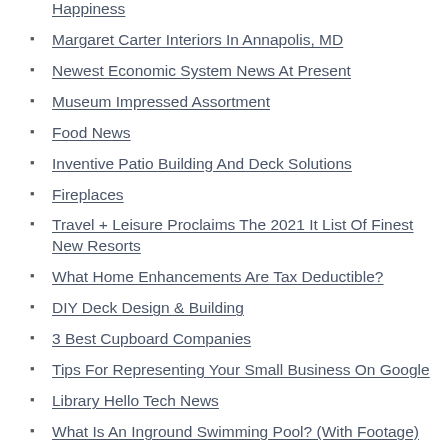Happiness
Margaret Carter Interiors In Annapolis, MD
Newest Economic System News At Present
Museum Impressed Assortment
Food News
Inventive Patio Building And Deck Solutions
Fireplaces
Travel + Leisure Proclaims The 2021 It List Of Finest New Resorts
What Home Enhancements Are Tax Deductible?
DIY Deck Design & Building
3 Best Cupboard Companies
Tips For Representing Your Small Business On Google
Library Hello Tech News
What Is An Inground Swimming Pool? (With Footage)
Healthcare & Science News